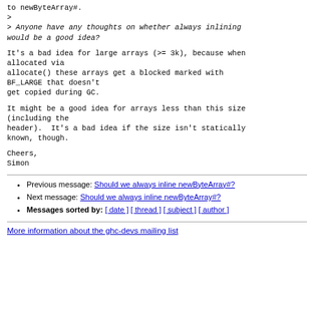to newByteArray#.
>
> Anyone have any thoughts on whether always inlining would be a good idea?
It's a bad idea for large arrays (>= 3k), because when allocated via
allocate() these arrays get a blocked marked with BF_LARGE that doesn't
get copied during GC.
It might be a good idea for arrays less than this size (including the
header).  It's a bad idea if the size isn't statically known, though.
Cheers,
Simon
Previous message: Should we always inline newByteArray#?
Next message: Should we always inline newByteArray#?
Messages sorted by: [ date ] [ thread ] [ subject ] [ author ]
More information about the ghc-devs mailing list